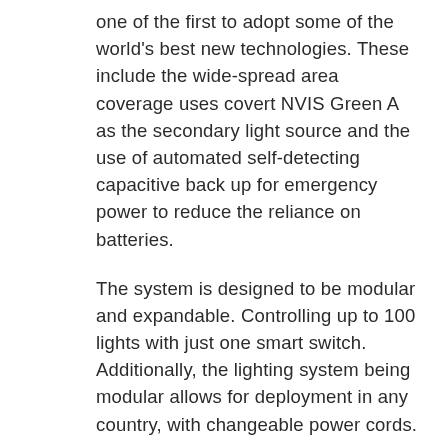one of the first to adopt some of the world's best new technologies. These include the wide-spread area coverage uses covert NVIS Green A as the secondary light source and the use of automated self-detecting capacitive back up for emergency power to reduce the reliance on batteries.
The system is designed to be modular and expandable. Controlling up to 100 lights with just one smart switch. Additionally, the lighting system being modular allows for deployment in any country, with changeable power cords.
The HQSS program will require a minimum of 8,500 tactical lighting kits, 2,125 switch kits, and 2,125 power distribution kits as firm contracted items. In addition, there is a potential for 20 years of in-service support in a series of four, 5-year optional contracts.